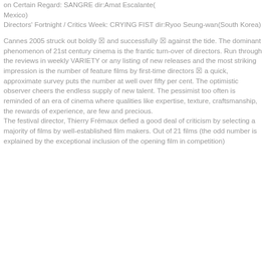on Certain Regard: SANGRE dir:Amat Escalante(Mexico)
Directors' Fortnight / Critics Week: CRYING FIST dir:Ryoo Seung-wan(South Korea)
Cannes 2005 struck out boldly ▪ and successfully ▪ against the tide. The dominant phenomenon of 21st century cinema is the frantic turn-over of directors. Run through the reviews in weekly VARIETY or any listing of new releases and the most striking impression is the number of feature films by first-time directors ▪ a quick, approximate survey puts the number at well over fifty per cent. The optimistic observer cheers the endless supply of new talent. The pessimist too often is reminded of an era of cinema where qualities like expertise, texture, craftsmanship, the rewards of experience, are few and precious.
The festival director, Thierry Frémaux defied a good deal of criticism by selecting a majority of films by well-established film makers. Out of 21 films (the odd number is explained by the exceptional inclusion of the opening film in competition)